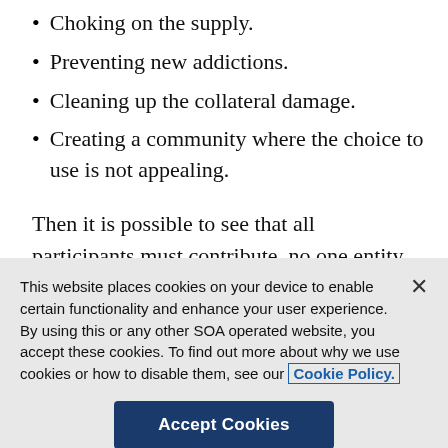Choking on the supply.
Preventing new addictions.
Cleaning up the collateral damage.
Creating a community where the choice to use is not appealing.
Then it is possible to see that all participants must contribute, no one entity can do it all, and that a solution implemented unilaterally by one actor may cause problems for...
This website places cookies on your device to enable certain functionality and enhance your user experience. By using this or any other SOA operated website, you accept these cookies. To find out more about why we use cookies or how to disable them, see our Cookie Policy.
Accept Cookies